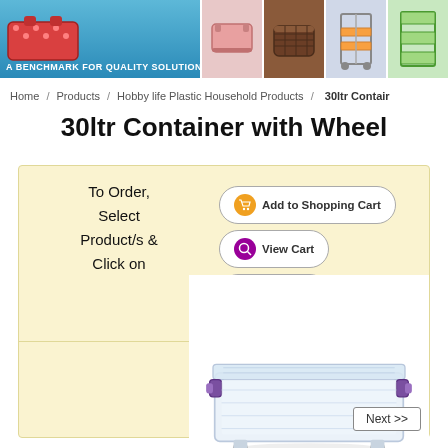A BENCHMARK FOR QUALITY SOLUTIONS
Home / Products / Hobby life Plastic Household Products / 30ltr Contair
30ltr Container with Wheel
To Order, Select Product/s & Click on
[Figure (screenshot): Add to Shopping Cart, View Cart, and Checkout buttons]
[Figure (photo): Clear plastic 30 litre container with wheels and purple handles]
Next >>